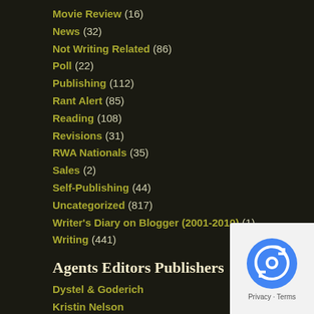Movie Review (16)
News (32)
Not Writing Related (86)
Poll (22)
Publishing (112)
Rant Alert (85)
Reading (108)
Revisions (31)
RWA Nationals (35)
Sales (2)
Self-Publishing (44)
Uncategorized (817)
Writer's Diary on Blogger (2001-2010) (1)
Writing (441)
Agents Editors Publishers
Dystel & Goderich
Kristin Nelson
Miss Snark
The Penguin Blog
The Rejecter
The Rejectionist
Author Blogs
Ann Aguirre